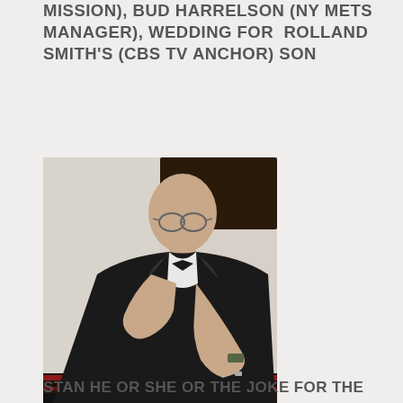MISSION), BUD HARRELSON (NY METS MANAGER), WEDDING FOR  ROLLAND SMITH'S (CBS TV ANCHOR) SON
[Figure (photo): A man in a black tuxedo with bow tie, wearing glasses, leaning on a grand piano with his hand resting on his chin, looking at the camera.]
STAN HE OR SHE OR THE JOKE FOR THE